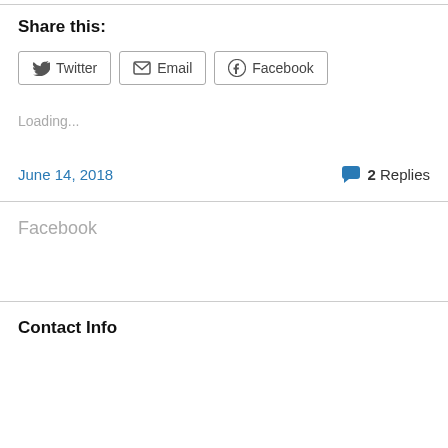Share this:
Twitter  Email  Facebook
Loading...
June 14, 2018
2 Replies
Facebook
Contact Info